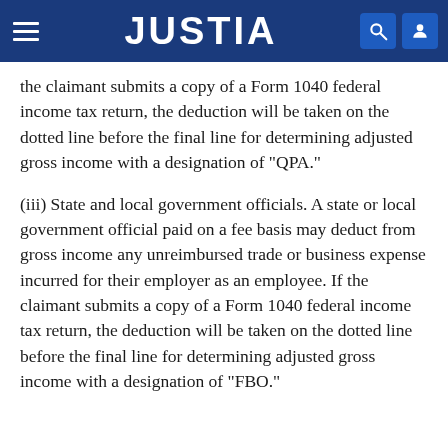JUSTIA
the claimant submits a copy of a Form 1040 federal income tax return, the deduction will be taken on the dotted line before the final line for determining adjusted gross income with a designation of "QPA."
(iii) State and local government officials. A state or local government official paid on a fee basis may deduct from gross income any unreimbursed trade or business expense incurred for their employer as an employee. If the claimant submits a copy of a Form 1040 federal income tax return, the deduction will be taken on the dotted line before the final line for determining adjusted gross income with a designation of "FBO."